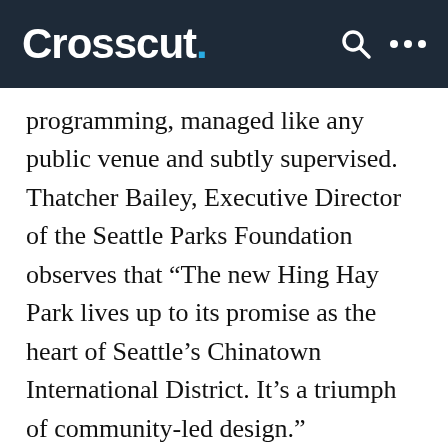Crosscut.
programming, managed like any public venue and subtly supervised. Thatcher Bailey, Executive Director of the Seattle Parks Foundation observes that “The new Hing Hay Park lives up to its promise as the heart of Seattle’s Chinatown International District. It’s a triumph of community-led design.”
On a recent warm Sunday afternoon, the park was fairly teeming with people — from toddlers scrambling over the red terraces to teenagers trying out the exercise equipment and seniors engaged in animated